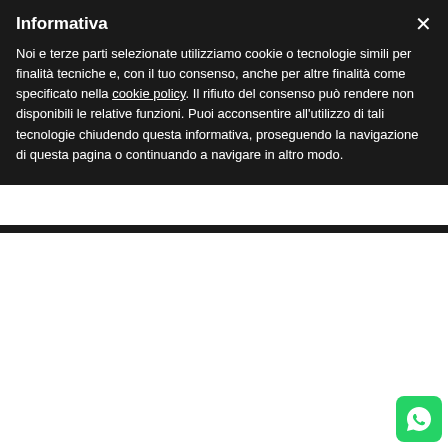Informativa
Noi e terze parti selezionate utilizziamo cookie o tecnologie simili per finalità tecniche e, con il tuo consenso, anche per altre finalità come specificato nella cookie policy. Il rifiuto del consenso può rendere non disponibili le relative funzioni. Puoi acconsentire all'utilizzo di tali tecnologie chiudendo questa informativa, proseguendo la navigazione di questa pagina o continuando a navigare in altro modo.
FMF DECAL REPLACEMENT Powercore 2.1 Ti
Artikel-Nr. 014827
Verfügbar